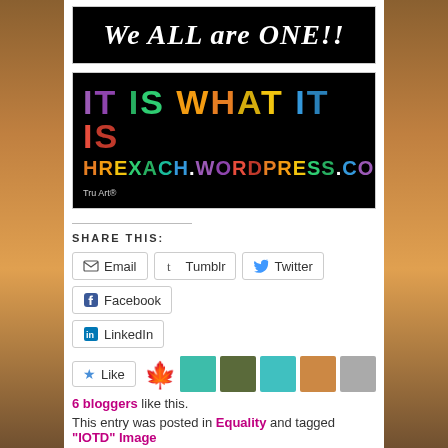[Figure (illustration): Black banner image with white italic bold text reading 'We ALL are ONE!!']
[Figure (illustration): Black background image with rainbow-colored large text 'IT IS WHAT IT IS' and orange text 'HREXACH.WORDPRESS.COM' with 'Tru Art®' watermark]
SHARE THIS:
Email
Tumblr
Twitter
Facebook
LinkedIn
6 bloggers like this.
This entry was posted in Equality and tagged "IOTD" Image